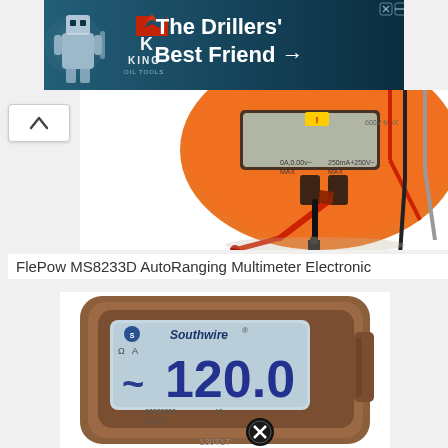[Figure (photo): King Oil Tools advertisement banner with robot/driller mascot, King logo, and text 'The Drillers' Best Friend →' on dark teal background]
[Figure (photo): Orange FlePow MS8233D AutoRanging Multimeter with red and black probe leads plugged in, close-up view]
FlePow MS8233D AutoRanging Multimeter Electronic
[Figure (photo): Southwire brand multimeter with brown/tan rubber casing showing LCD display reading 120.0 with AUTO mode selected]